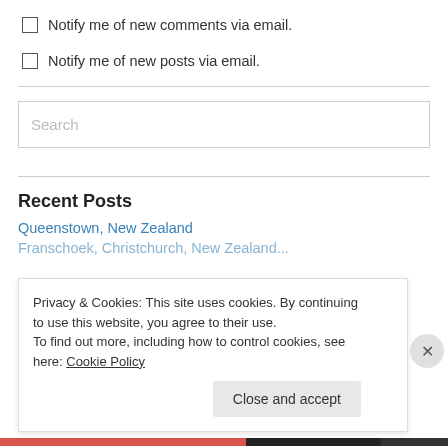Notify me of new comments via email.
Notify me of new posts via email.
Search
Recent Posts
Queenstown, New Zealand
Privacy & Cookies: This site uses cookies. By continuing to use this website, you agree to their use.
To find out more, including how to control cookies, see here: Cookie Policy
Close and accept